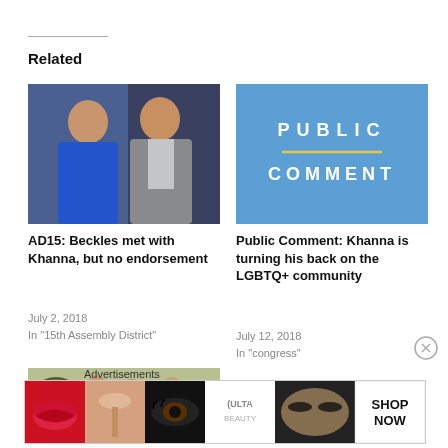Related
[Figure (photo): Two people posing for a photo, one in blue jacket, one in grey suit]
AD15: Beckles met with Khanna, but no endorsement
July 2, 2018
In "15th Assembly District"
[Figure (illustration): Blue background graphic with text PUBLIC COMMENT in white letters with gold underline]
Public Comment: Khanna is turning his back on the LGBTQ+ community
July 12, 2018
In "congress"
[Figure (photo): Three men sitting at a council table with a seal visible in background]
Advertisements
[Figure (screenshot): Ulta Beauty advertisement strip with makeup imagery and SHOP NOW button]